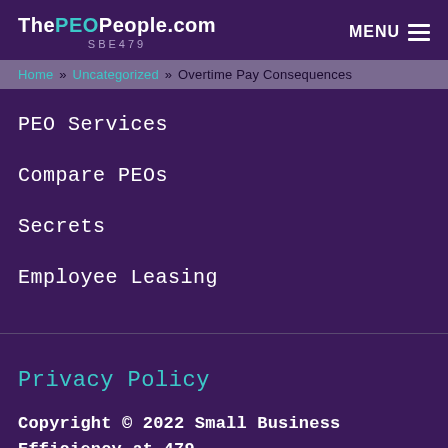ThePEOPeople.com SBE479 MENU
Home » Uncategorized » Overtime Pay Consequences
PEO Services
Compare PEOs
Secrets
Employee Leasing
Privacy Policy
Copyright © 2022 Small Business Efficiency at 479.